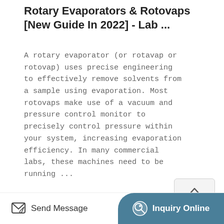Rotary Evaporators & Rotovaps [New Guide In 2022] - Lab ...
A rotary evaporator (or rotavap or rotovap) uses precise engineering to effectively remove solvents from a sample using evaporation. Most rotovaps make use of a vacuum and pressure control monitor to precisely control pressure within your system, increasing evaporation efficiency. In many commercial labs, these machines need to be running ...
[Figure (other): TOP button widget with upward caret arrow and label TOP]
[Figure (other): Learn More button — gold/tan rounded rectangle with white text]
[Figure (photo): Photo of laboratory rotary evaporator equipment, showing glass flask on silver/grey apparatus, partially visible]
Send Message    Inquiry Online